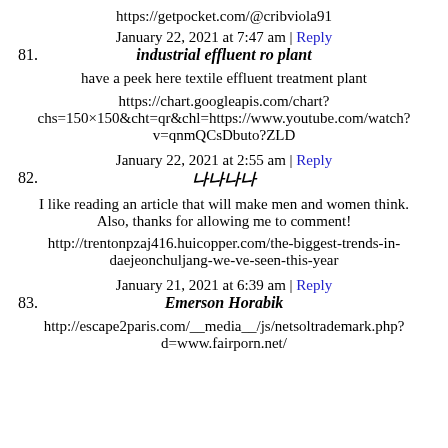https://getpocket.com/@cribviola91
January 22, 2021 at 7:47 am | Reply
81. industrial effluent ro plant
have a peek here textile effluent treatment plant
https://chart.googleapis.com/chart?chs=150×150&cht=qr&chl=https://www.youtube.com/watch?v=qnmQCsDbuto?ZLD
January 22, 2021 at 2:55 am | Reply
82. 나나나나
I like reading an article that will make men and women think. Also, thanks for allowing me to comment!
http://trentonpzaj416.huicopper.com/the-biggest-trends-in-daejeonchuljang-we-ve-seen-this-year
January 21, 2021 at 6:39 am | Reply
83. Emerson Horabik
http://escape2paris.com/__media__/js/netsoltrademark.php?d=www.fairporn.net/